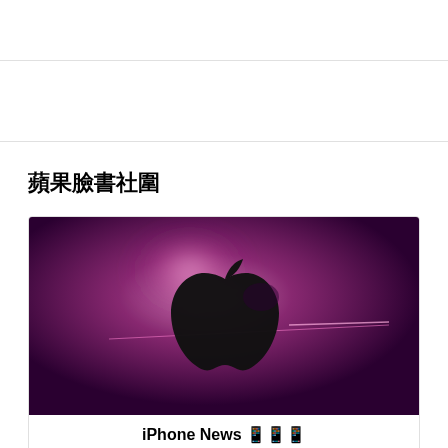蘋果臉書社圍
[Figure (illustration): Apple logo on a dark purple/magenta glowing background with a light streak across]
iPhone News 📱📱📱
Facebook 粉絲 · 290,702 粉絲